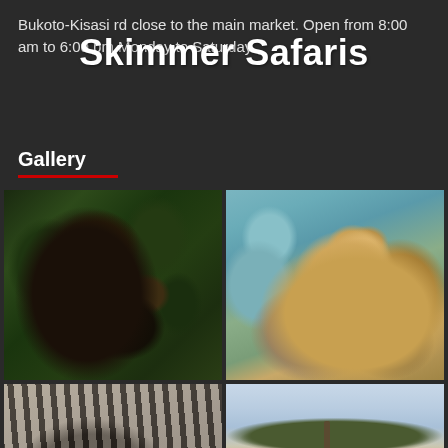Bukoto-Kisasi rd close to the main market. Open from 8:00 am to 6:00 pm Monday to Saturday.
Skimmer Safaris
Gallery
[Figure (photo): Chimpanzee sitting in green forest foliage, examining something in its hands]
[Figure (photo): Young lion resting on a tree branch, looking directly at camera]
[Figure (photo): Close-up of zebra stripes, partial face visible]
[Figure (photo): African savanna landscape with an acacia tree silhouetted against sky]